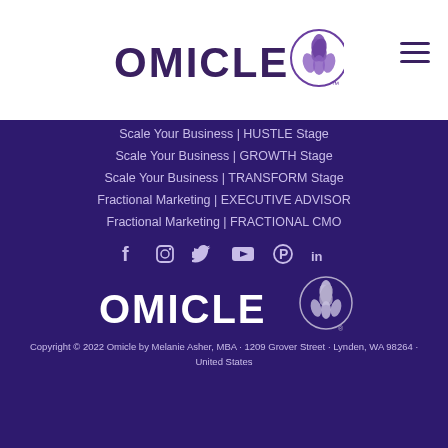[Figure (logo): Omicle logo with purple lotus/globe icon on white header bar with hamburger menu icon on right]
Scale Your Business | HUSTLE Stage
Scale Your Business | GROWTH Stage
Scale Your Business | TRANSFORM Stage
Fractional Marketing | EXECUTIVE ADVISOR
Fractional Marketing | FRACTIONAL CMO
[Figure (other): Social media icons: Facebook, Instagram, Twitter, YouTube, Pinterest, LinkedIn]
[Figure (logo): Omicle logo in white on dark purple background]
Copyright © 2022 Omicle by Melanie Asher, MBA · 1209 Grover Street · Lynden, WA 98264 · United States